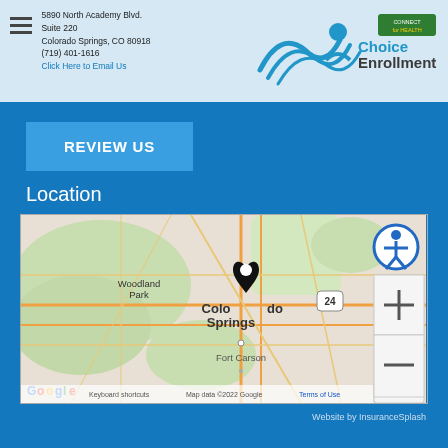5890 North Academy Blvd. Suite 220 Colorado Springs, CO 80918 (719) 401-1616 Click Here to Email Us
[Figure (logo): ChoiceEnrollment logo with Connect for Health Colorado badge]
REVIEW US
Location
[Figure (map): Google Maps showing Colorado Springs, CO area with a location pin. Shows Woodland Park, Colorado Springs, Fort Carson. Map data ©2022 Google. Keyboard shortcuts. Terms of Use.]
Website by InsuranceSplash